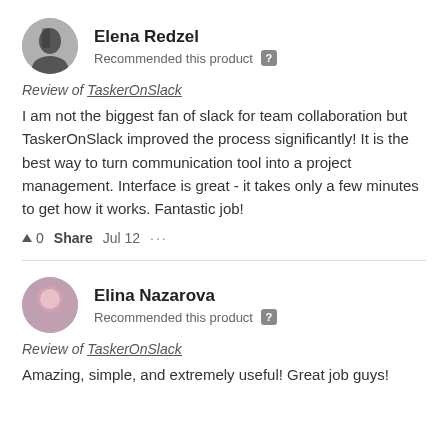Elena Redzel
Recommended this product
Review of TaskerOnSlack
I am not the biggest fan of slack for team collaboration but TaskerOnSlack improved the process significantly! It is the best way to turn communication tool into a project management. Interface is great - it takes only a few minutes to get how it works. Fantastic job!
▲ 0   Share   Jul 12   ...
Elina Nazarova
Recommended this product
Review of TaskerOnSlack
Amazing, simple, and extremely useful! Great job guys!